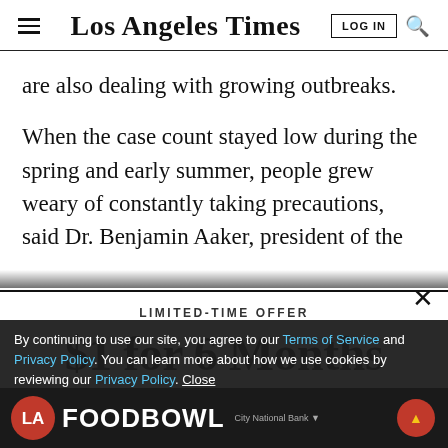Los Angeles Times
are also dealing with growing outbreaks.
When the case count stayed low during the spring and early summer, people grew weary of constantly taking precautions, said Dr. Benjamin Aaker, president of the
LIMITED-TIME OFFER
$1 for 6 Months
SUBSCRIBE NOW
By continuing to use our site, you agree to our Terms of Service and Privacy Policy. You can learn more about how we use cookies by reviewing our Privacy Policy. Close